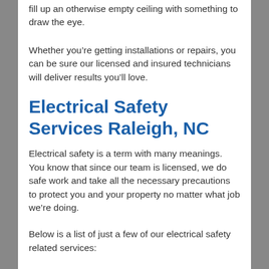fill up an otherwise empty ceiling with something to draw the eye.
Whether you’re getting installations or repairs, you can be sure our licensed and insured technicians will deliver results you’ll love.
Electrical Safety Services Raleigh, NC
Electrical safety is a term with many meanings. You know that since our team is licensed, we do safe work and take all the necessary precautions to protect you and your property no matter what job we’re doing.
Below is a list of just a few of our electrical safety related services: